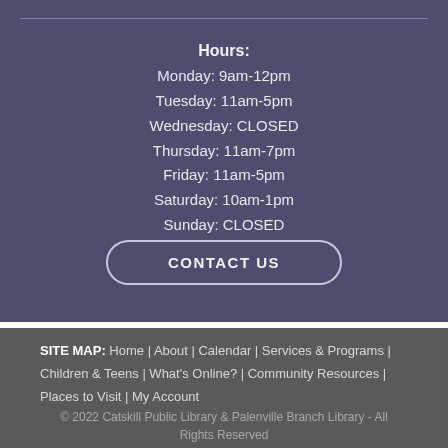Hours:
Monday: 9am-12pm
Tuesday: 11am-5pm
Wednesday: CLOSED
Thursday: 11am-7pm
Friday: 11am-5pm
Saturday: 10am-1pm
Sunday: CLOSED
CONTACT US
SITE MAP: Home | About | Calendar | Services & Programs | Children & Teens | What's Online? | Community Resources | Places to Visit | My Account
© 2022 Catskill Public Library & Palenville Branch Library - All Rights Reserved